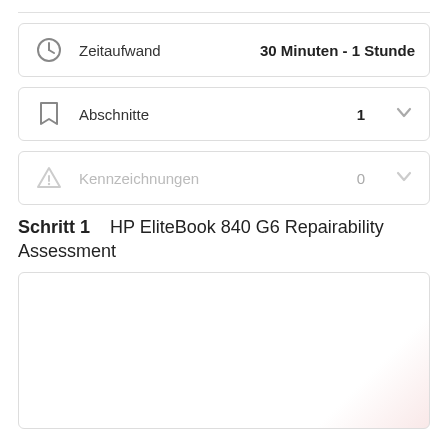Zeitaufwand — 30 Minuten - 1 Stunde
Abschnitte — 1
Kennzeichnungen — 0
Schritt 1    HP EliteBook 840 G6 Repairability Assessment
[Figure (other): Image area placeholder with light pink gradient background, representing a repairability assessment image for HP EliteBook 840 G6]